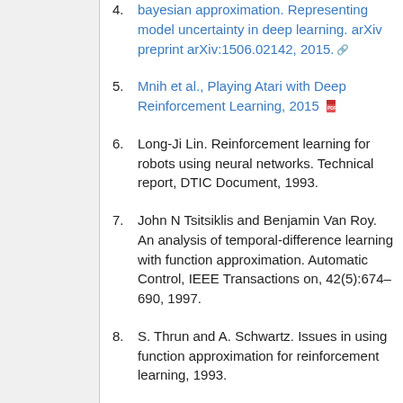4. Bayesian approximation. Representing model uncertainty in deep learning. arXiv preprint arXiv:1506.02142, 2015.
5. Mnih et al., Playing Atari with Deep Reinforcement Learning, 2015
6. Long-Ji Lin. Reinforcement learning for robots using neural networks. Technical report, DTIC Document, 1993.
7. John N Tsitsiklis and Benjamin Van Roy. An analysis of temporal-difference learning with function approximation. Automatic Control, IEEE Transactions on, 42(5):674–690, 1997.
8. S. Thrun and A. Schwartz. Issues in using function approximation for reinforcement learning, 1993.